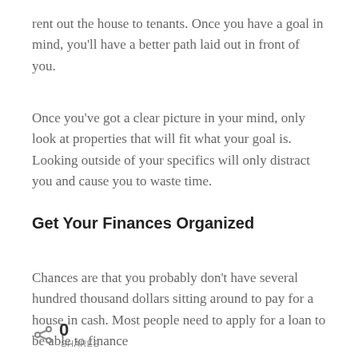rent out the house to tenants. Once you have a goal in mind, you'll have a better path laid out in front of you.
Once you've got a clear picture in your mind, only look at properties that will fit what your goal is. Looking outside of your specifics will only distract you and cause you to waste time.
Get Your Finances Organized
Chances are that you probably don't have several hundred thousand dollars sitting around to pay for a house in cash. Most people need to apply for a loan to be able to finance
0 SHARES